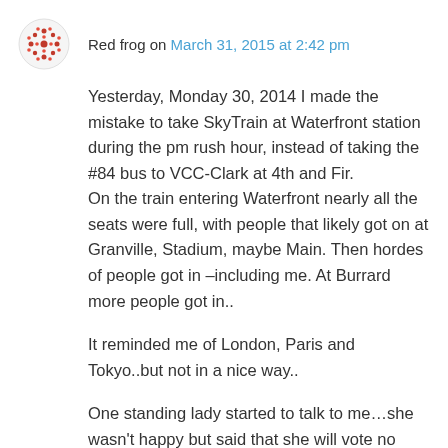Red frog on March 31, 2015 at 2:42 pm
Yesterday, Monday 30, 2014 I made the mistake to take SkyTrain at Waterfront station during the pm rush hour, instead of taking the #84 bus to VCC-Clark at 4th and Fir.
On the train entering Waterfront nearly all the seats were full, with people that likely got on at Granville, Stadium, maybe Main. Then hordes of people got in –including me. At Burrard more people got in..
It reminded me of London, Paris and Tokyo..but not in a nice way..
One standing lady started to talk to me…she wasn't happy but said that she will vote no